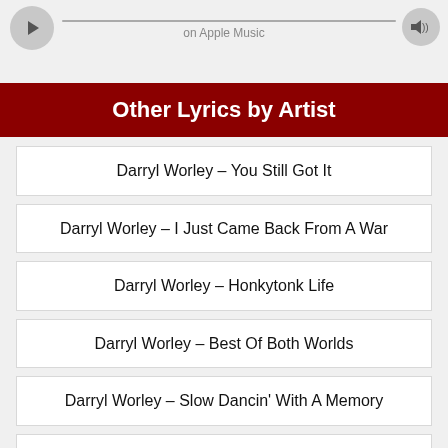on Apple Music
Other Lyrics by Artist
Darryl Worley – You Still Got It
Darryl Worley – I Just Came Back From A War
Darryl Worley – Honkytonk Life
Darryl Worley – Best Of Both Worlds
Darryl Worley – Slow Dancin' With A Memory
Darryl Worley – Sounds Like Life To Me
Darryl Worley – Doin' What's Right